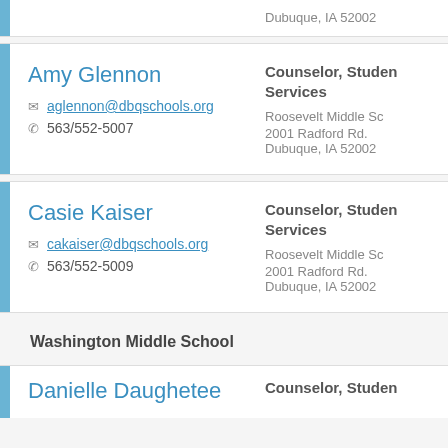Dubuque, IA 52002
Amy Glennon
aglennon@dbqschools.org
563/552-5007
Counselor, Student Services
Roosevelt Middle School
2001 Radford Rd.
Dubuque, IA 52002
Casie Kaiser
cakaiser@dbqschools.org
563/552-5009
Counselor, Student Services
Roosevelt Middle School
2001 Radford Rd.
Dubuque, IA 52002
Washington Middle School
Danielle Daughetee
Counselor, Student Services